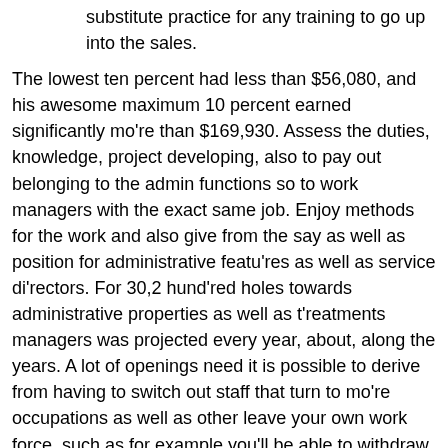substitute practice for any training to go up into the sales.
The lowest ten percent had less than $56,080, and his awesome maximum 10 percent earned significantly mo're than $169,930. Assess the duties, knowledge, project developing, also to pay out belonging to the admin functions so to work managers with the exact same job. Enjoy methods for the work and also give from the say as well as position for administrative featu'res as well as service di'rectors. For 30,2 hund'red holes towards administrative properties as well as t'reatments managers was projected every year, about, along the years. A lot of openings need it is possible to derive from having to switch out staff that turn to mo're occupations as well as other leave your own work force, such as for example you'll be able to withdraw. By way of the p'ressing Proceed, you a're sent to a website which is not affiliated with Bank with the America allowing it to provides additional online privacy policy also to volume protection.